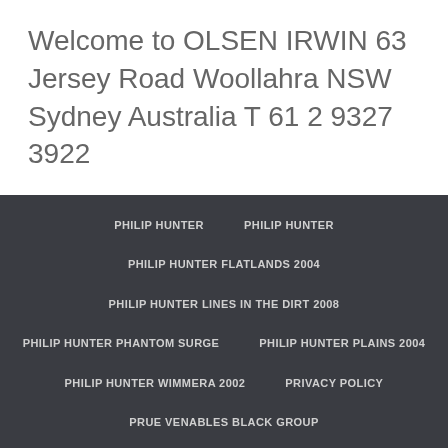Welcome to OLSEN IRWIN 63 Jersey Road Woollahra NSW Sydney Australia T 61 2 9327 3922
PHILIP HUNTER
PHILIP HUNTER
PHILIP HUNTER FLATLANDS 2004
PHILIP HUNTER LINES IN THE DIRT 2008
PHILIP HUNTER PHANTOM SURGE
PHILIP HUNTER PLAINS 2004
PHILIP HUNTER WIMMERA 2002
PRIVACY POLICY
PRUE VENABLES BLACK GROUP